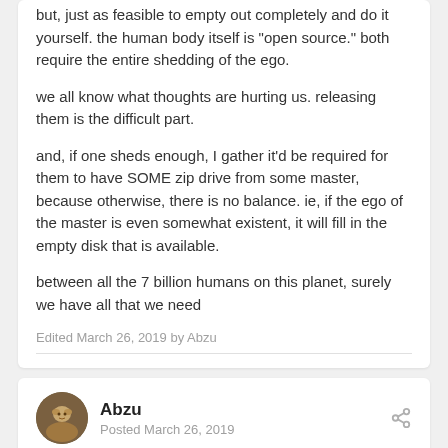but, just as feasible to empty out completely and do it yourself. the human body itself is "open source." both require the entire shedding of the ego.
we all know what thoughts are hurting us. releasing them is the difficult part.
and, if one sheds enough, I gather it'd be required for them to have SOME zip drive from some master, because otherwise, there is no balance. ie, if the ego of the master is even somewhat existent, it will fill in the empty disk that is available.
between all the 7 billion humans on this planet, surely we have all that we need
Edited March 26, 2019 by Abzu
Abzu
Posted March 26, 2019